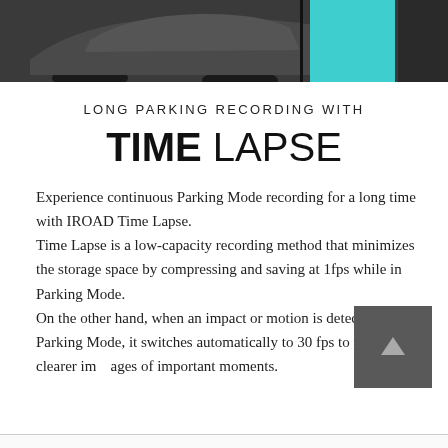[Figure (photo): Top banner image showing a dark car side view with a teal/cyan colored panel on the right side]
LONG PARKING RECORDING WITH
TIME LAPSE
Experience continuous Parking Mode recording for a long time with IROAD Time Lapse.
Time Lapse is a low-capacity recording method that minimizes the storage space by compressing and saving at 1fps while in Parking Mode.
On the other hand, when an impact or motion is detected during Parking Mode, it switches automatically to 30 fps to provide clearer images of important moments.